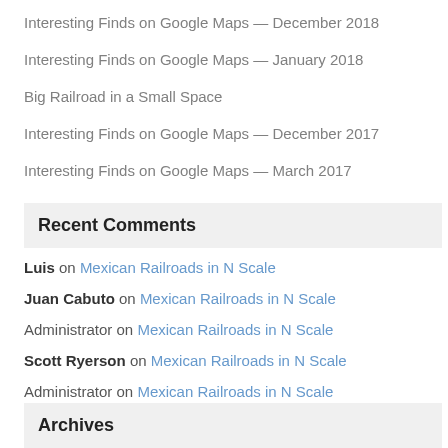Interesting Finds on Google Maps — December 2018
Interesting Finds on Google Maps — January 2018
Big Railroad in a Small Space
Interesting Finds on Google Maps — December 2017
Interesting Finds on Google Maps — March 2017
Recent Comments
Luis on Mexican Railroads in N Scale
Juan Cabuto on Mexican Railroads in N Scale
Administrator on Mexican Railroads in N Scale
Scott Ryerson on Mexican Railroads in N Scale
Administrator on Mexican Railroads in N Scale
Archives